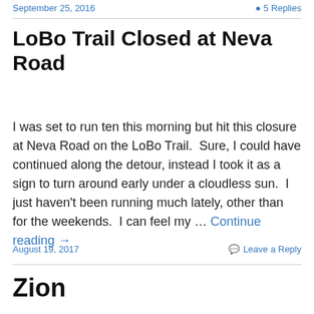September 25, 2016   5 Replies
LoBo Trail Closed at Neva Road
I was set to run ten this morning but hit this closure at Neva Road on the LoBo Trail.  Sure, I could have continued along the detour, instead I took it as a sign to turn around early under a cloudless sun.  I just haven't been running much lately, other than for the weekends.  I can feel my … Continue reading →
August 19, 2017
Leave a Reply
Zion